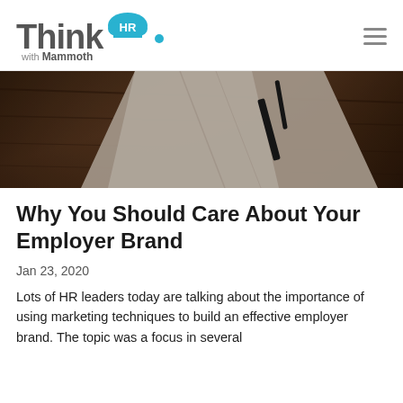Think HR with Mammoth
[Figure (photo): Dark wooden table with a folded light-colored napkin and dark utensil/tool resting on it, photographed from above in low-key lighting]
Why You Should Care About Your Employer Brand
Jan 23, 2020
Lots of HR leaders today are talking about the importance of using marketing techniques to build an effective employer brand. The topic was a focus in several